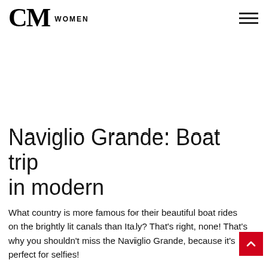CM WOMEN
Naviglio Grande: Boat trip in modern
What country is more famous for their beautiful boat rides on the brightly lit canals than Italy? That's right, none! That's why you shouldn't miss the Naviglio Grande, because it's perfect for selfies!